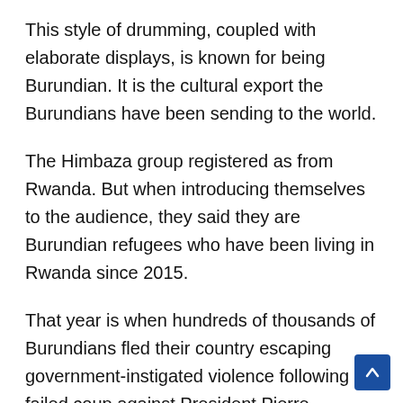This style of drumming, coupled with elaborate displays, is known for being Burundian. It is the cultural export the Burundians have been sending to the world.
The Himbaza group registered as from Rwanda. But when introducing themselves to the audience, they said they are Burundian refugees who have been living in Rwanda since 2015.
That year is when hundreds of thousands of Burundians fled their country escaping government-instigated violence following a failed coup against President Pierre Nkurunziza.
No television in Burundi is showing the talent show, and so the Burundians got to know it days later from media